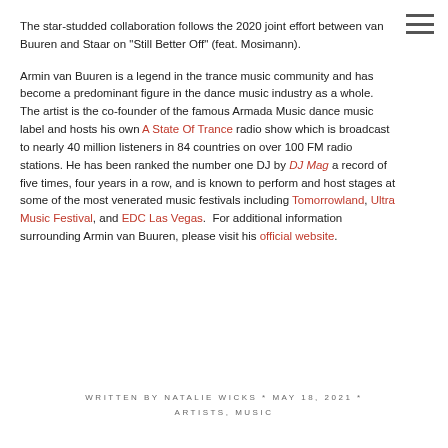The star-studded collaboration follows the 2020 joint effort between van Buuren and Staar on "Still Better Off" (feat. Mosimann).
Armin van Buuren is a legend in the trance music community and has become a predominant figure in the dance music industry as a whole. The artist is the co-founder of the famous Armada Music dance music label and hosts his own A State Of Trance radio show which is broadcast to nearly 40 million listeners in 84 countries on over 100 FM radio stations. He has been ranked the number one DJ by DJ Mag a record of five times, four years in a row, and is known to perform and host stages at some of the most venerated music festivals including Tomorrowland, Ultra Music Festival, and EDC Las Vegas. For additional information surrounding Armin van Buuren, please visit his official website.
WRITTEN BY NATALIE WICKS * MAY 18, 2021 * ARTISTS, MUSIC